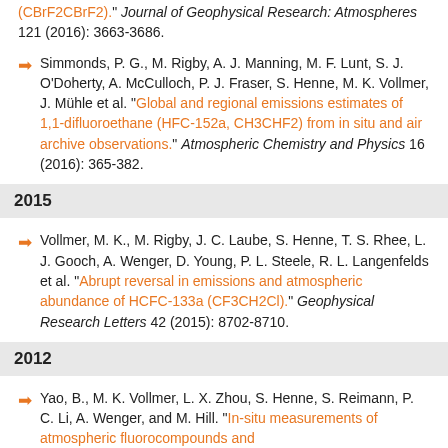(CBrF2CBrF2)." Journal of Geophysical Research: Atmospheres 121 (2016): 3663-3686.
Simmonds, P. G., M. Rigby, A. J. Manning, M. F. Lunt, S. J. O'Doherty, A. McCulloch, P. J. Fraser, S. Henne, M. K. Vollmer, J. Mühle et al. "Global and regional emissions estimates of 1,1-difluoroethane (HFC-152a, CH3CHF2) from in situ and air archive observations." Atmospheric Chemistry and Physics 16 (2016): 365-382.
2015
Vollmer, M. K., M. Rigby, J. C. Laube, S. Henne, T. S. Rhee, L. J. Gooch, A. Wenger, D. Young, P. L. Steele, R. L. Langenfelds et al. "Abrupt reversal in emissions and atmospheric abundance of HCFC-133a (CF3CH2Cl)." Geophysical Research Letters 42 (2015): 8702-8710.
2012
Yao, B., M. K. Vollmer, L. X. Zhou, S. Henne, S. Reimann, P. C. Li, A. Wenger, and M. Hill. "In-situ measurements of atmospheric fluorocompounds..."